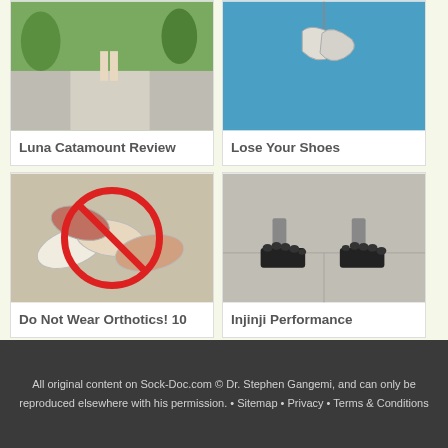[Figure (photo): Person walking on path, outdoor greenery background - Luna Catamount]
Luna Catamount Review
[Figure (photo): Shoes hanging on blue background - Lose Your Shoes]
Lose Your Shoes
[Figure (photo): Multiple shoes with red circle-and-slash no symbol overlaid - Do Not Wear Orthotics]
Do Not Wear Orthotics! 10
[Figure (photo): Person wearing black toe socks standing on tile floor - Injinji Performance]
Injinji Performance
All original content on Sock-Doc.com © Dr. Stephen Gangemi, and can only be reproduced elsewhere with his permission. • Sitemap • Privacy • Terms & Conditions